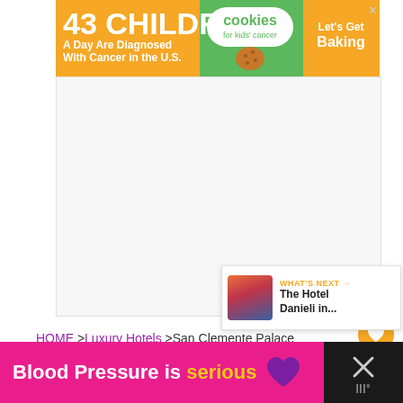[Figure (infographic): Advertisement banner for Cookies for Kids Cancer: '43 CHILDREN A Day Are Diagnosed With Cancer in the U.S.' with cookies logo and 'Let's Get Baking' text on orange background]
[Figure (infographic): Gray advertisement placeholder area with watermark]
HOME  >Luxury Hotels  >San Clemente Palace
[Figure (infographic): What's Next panel showing 'The Hotel Danieli in...' with cityscape thumbnail]
[Figure (infographic): Bottom advertisement banner: 'Blood Pressure is serious' with purple heart graphic on pink/magenta background]